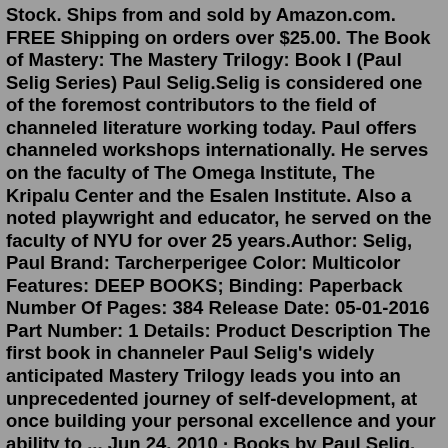Stock. Ships from and sold by Amazon.com. FREE Shipping on orders over $25.00. The Book of Mastery: The Mastery Trilogy: Book I (Paul Selig Series) Paul Selig.Selig is considered one of the foremost contributors to the field of channeled literature working today. Paul offers channeled workshops internationally. He serves on the faculty of The Omega Institute, The Kripalu Center and the Esalen Institute. Also a noted playwright and educator, he served on the faculty of NYU for over 25 years.Author: Selig, Paul Brand: Tarcherperigee Color: Multicolor Features: DEEP BOOKS; Binding: Paperback Number Of Pages: 384 Release Date: 05-01-2016 Part Number: 1 Details: Product Description The first book in channeler Paul Selig's widely anticipated Mastery Trilogy leads you into an unprecedented journey of self-development, at once building your personal excellence and your ability to ... Jun 24, 2010 · Books by Paul Selig. Filter your search. Showing 1 to 30 of 35 results ... Pre-order. Na początku było Słowo. Paul Selig. Book. US$14.72. Add